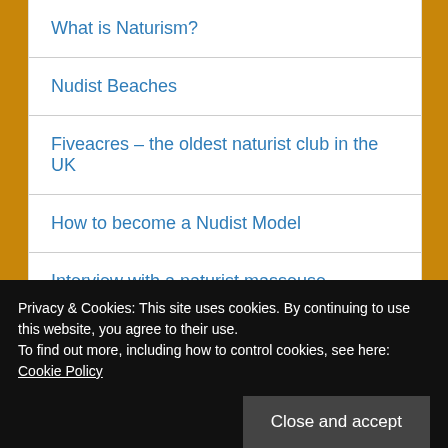What is Naturism?
Nudist Beaches
Fiveacres – the oldest naturist club in the UK
How to become a Nudist Model
Interview with a naturist masseuse
Nudist Fashion
Naturist Clubs in UK
Privacy & Cookies: This site uses cookies. By continuing to use this website, you agree to their use.
To find out more, including how to control cookies, see here: Cookie Policy
Close and accept